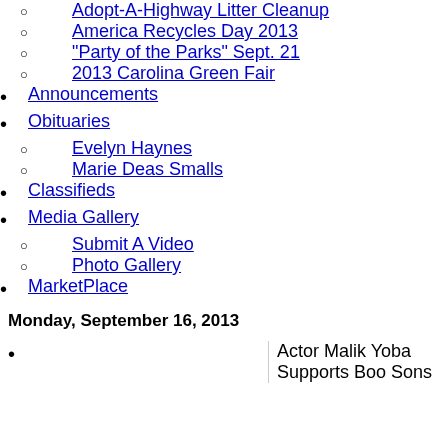Adopt-A-Highway Litter Cleanup
America Recycles Day 2013
"Party of the Parks" Sept. 21
2013 Carolina Green Fair
Announcements
Obituaries
Evelyn Haynes
Marie Deas Smalls
Classifieds
Media Gallery
Submit A Video
Photo Gallery
MarketPlace
Monday, September 16, 2013
Actor Malik Yoba Supports Boo Sons